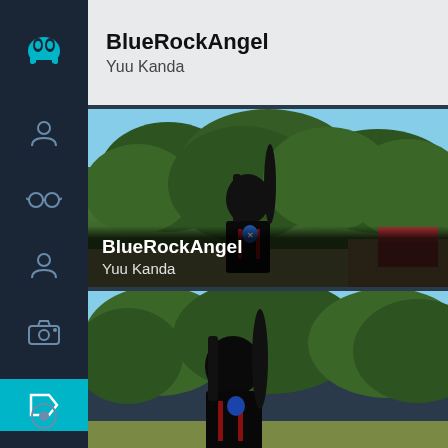[Figure (screenshot): App sidebar with dark navy background showing navigation icons: a teal monster/alien face icon at top, then person icon, glasses icon, person icon, camera icon, and an active tag/label icon highlighted in cyan. A small circle icon at the bottom.]
BlueRockAngel
Yuu Kanda
[Figure (photo): Cosplay photo of person dressed as Yuu Kanda from D.Gray-man with long black hair, black uniform with red accents and a blue cross/exorcist badge. Standing outdoors in front of pine/evergreen trees with blue sky. Red barn visible in background. Username overlay: BlueRockAngel, Yuu Kanda.]
[Figure (photo): Second cosplay photo of the same person as Yuu Kanda, closer crop, standing in front of green pine trees with partial sky. Black hair and black costume with red accents visible.]